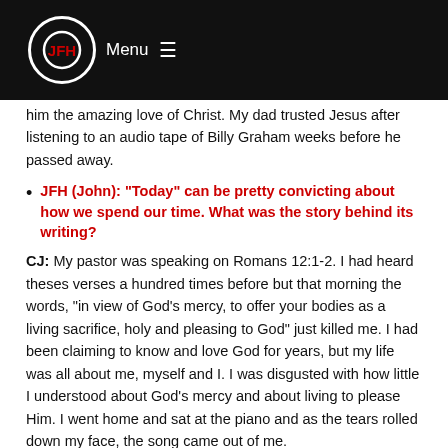JFH Menu
him the amazing love of Christ. My dad trusted Jesus after listening to an audio tape of Billy Graham weeks before he passed away.
JFH (John): "Today" can be pretty convicting about how we spend our time. What was the story behind its writing?
CJ: My pastor was speaking on Romans 12:1-2. I had heard theses verses a hundred times before but that morning the words, "in view of God's mercy, to offer your bodies as a living sacrifice, holy and pleasing to God" just killed me. I had been claiming to know and love God for years, but my life was all about me, myself and I. I was disgusted with how little I understood about God's mercy and about living to please Him. I went home and sat at the piano and as the tears rolled down my face, the song came out of me.